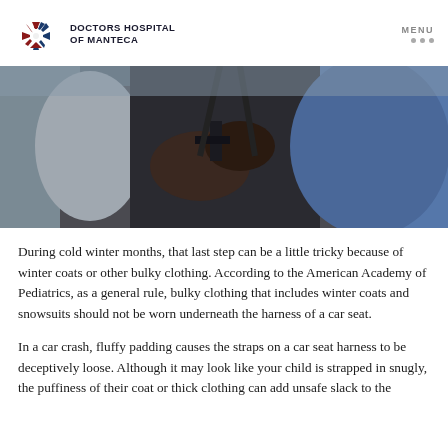DOCTORS HOSPITAL OF MANTECA
[Figure (photo): Close-up photograph of a person buckling a child into a car seat harness, showing hands securing the straps on a dark jacket.]
During cold winter months, that last step can be a little tricky because of winter coats or other bulky clothing. According to the American Academy of Pediatrics, as a general rule, bulky clothing that includes winter coats and snowsuits should not be worn underneath the harness of a car seat.
In a car crash, fluffy padding causes the straps on a car seat harness to be deceptively loose. Although it may look like your child is strapped in snugly, the puffiness of their coat or thick clothing can add unsafe slack to the